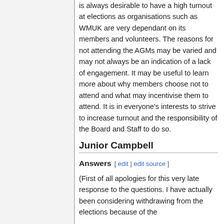is always desirable to have a high turnout at elections as organisations such as WMUK are very dependant on its members and volunteers. The reasons for not attending the AGMs may be varied and may not always be an indication of a lack of engagement. It may be useful to learn more about why members choose not to attend and what may incentivise them to attend. It is in everyone's interests to strive to increase turnout and the responsibility of the Board and Staff to do so.
Junior Campbell
Answers
(First of all apologies for this very late response to the questions. I have actually been considering withdrawing from the elections because of the